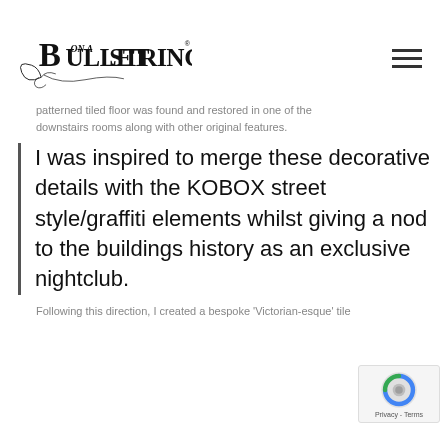Bullet on a String [logo]
patterned tiled floor was found and restored in one of the downstairs rooms along with other original features.
I was inspired to merge these decorative details with the KOBOX street style/graffiti elements whilst giving a nod to the buildings history as an exclusive nightclub.
Following this direction, I created a bespoke 'Victorian-esque' tile